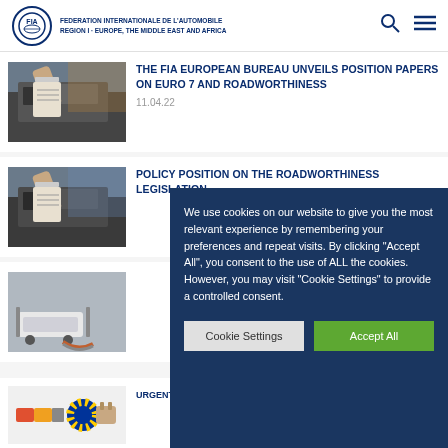FIA - FEDERATION INTERNATIONALE DE L'AUTOMOBILE - REGION I - EUROPE, THE MIDDLE EAST AND AFRICA
THE FIA EUROPEAN BUREAU UNVEILS POSITION PAPERS ON EURO 7 AND ROADWORTHINESS
11.04.22
POLICY POSITION ON THE ROADWORTHINESS LEGISLATION
[Figure (screenshot): Cookie consent dialog on FIA website]
We use cookies on our website to give you the most relevant experience by remembering your preferences and repeat visits. By clicking “Accept All”, you consent to the use of ALL the cookies. However, you may visit "Cookie Settings" to provide a controlled consent.
Cookie Settings | Accept All